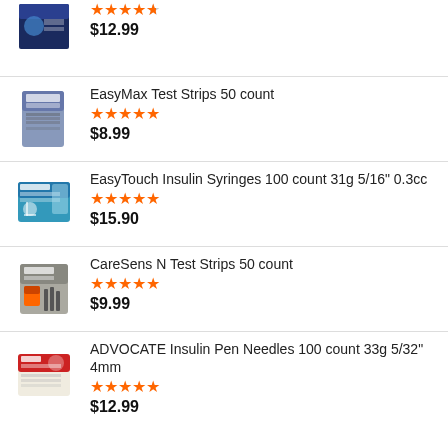[Figure (photo): Product image - dark blue box (partial, top cut off)]
$12.99
[Figure (photo): EasyMax Test Strips 50 count product box]
EasyMax Test Strips 50 count
★★★★★
$8.99
[Figure (photo): EasyTouch Insulin Syringes product box]
EasyTouch Insulin Syringes 100 count 31g 5/16" 0.3cc
★★★★★
$15.90
[Figure (photo): CareSens N Test Strips 50 count product box]
CareSens N Test Strips 50 count
★★★★★
$9.99
[Figure (photo): ADVOCATE Insulin Pen Needles product box]
ADVOCATE Insulin Pen Needles 100 count 33g 5/32" 4mm
★★★★★
$12.99